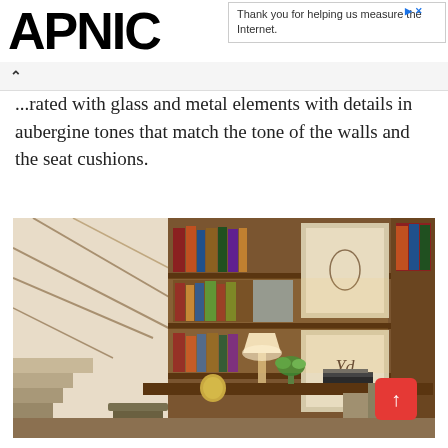APNIC
Thank you for helping us measure the Internet.
...rated with glass and metal elements with details in aubergine tones that match the tone of the walls and the seat cushions.
[Figure (photo): Interior home office or library space with warm wood bookshelves filled with books and framed artwork, a desk with lamp and decorative items, chairs, and a staircase visible on the left side. A red scroll-to-top button appears in the lower right corner.]